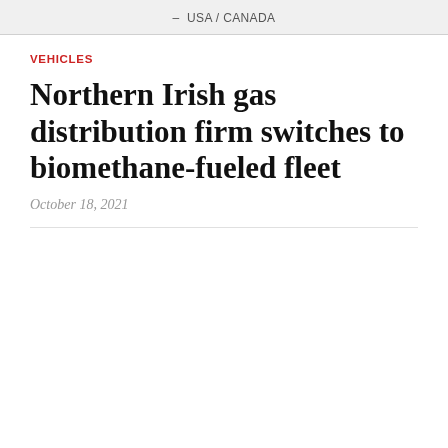USA / CANADA
VEHICLES
Northern Irish gas distribution firm switches to biomethane-fueled fleet
October 18, 2021